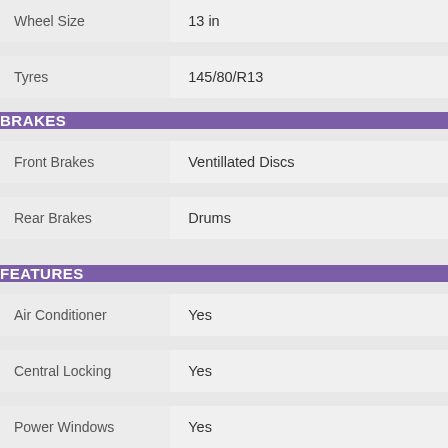| Attribute | Value |
| --- | --- |
| Wheel Size | 13 in |
| Tyres | 145/80/R13 |
BRAKES
| Attribute | Value |
| --- | --- |
| Front Brakes | Ventillated Discs |
| Rear Brakes | Drums |
FEATURES
| Attribute | Value |
| --- | --- |
| Air Conditioner | Yes |
| Central Locking | Yes |
| Power Windows | Yes |